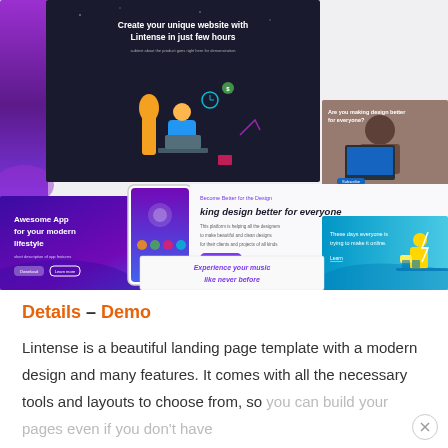[Figure (screenshot): Collage of website/app landing page screenshots showing: a dark hero panel with text 'Create your unique website with Lintense in just few hours', a purple gradient side panel, a photo of a person at a desk, a mobile app mockup panel with 'Awesome App for your modern lifestyle', a center white panel with 'king design better for everyone', a blue panel with illustration, and a music app panel with 'Experience your music like never before'.]
Details – Demo
Lintense is a beautiful landing page template with a modern design and many features. It comes with all the necessary tools and layouts to choose from, so you can build your pages even if you don't have